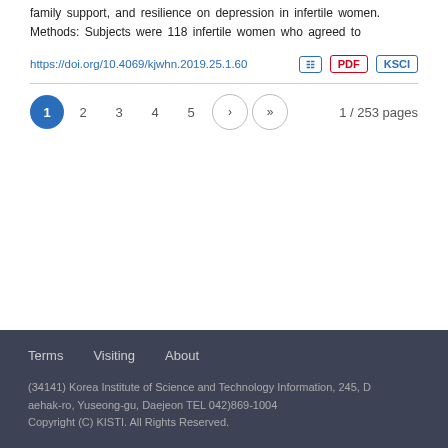family support, and resilience on depression in infertile women. Methods: Subjects were 118 infertile women who agreed to
https://doi.org/10.4069/kjwhn.2019.25.1.60
1 / 253 pages
Terms   Visiting   About
(34141) Korea Institute of Science and Technology Information, 245, Daehak-ro, Yuseong-gu, Daejeon TEL 042)869-1004
Copyright (C) KISTI. All Rights Reserved.